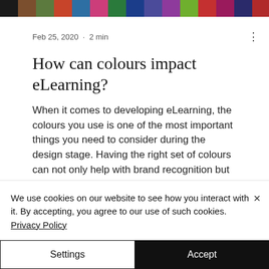[Figure (photo): Colorful pencils/markers arranged in a row banner image at top of page]
Feb 25, 2020 · 2 min
How can colours impact eLearning?
When it comes to developing eLearning, the colours you use is one of the most important things you need to consider during the design stage. Having the right set of colours can not only help with brand recognition but give your eLearning a modern and unique feel that your
We use cookies on our website to see how you interact with it. By accepting, you agree to our use of such cookies. Privacy Policy